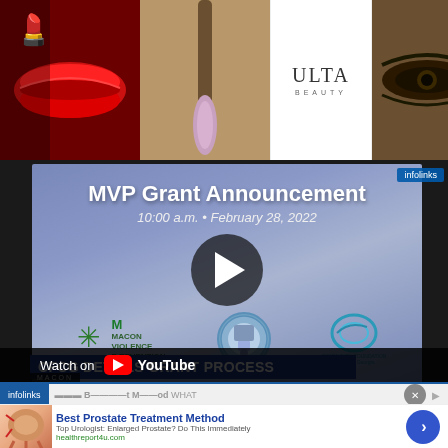[Figure (screenshot): Top banner advertisement for Ulta Beauty showing makeup images (lips, brush, eyes), the Ulta Beauty logo, eye makeup close-up, and a 'SHOP NOW' call to action button]
[Figure (screenshot): Embedded YouTube video screenshot showing 'MVP Grant Announcement' slide with time 10:00 a.m. bullet February 28, 2022, logos for Macon Violence Prevention, a city seal, and Community Foundation of Central Georgia. Lower bar reads 'CFCG DETAILS GRANT PROCESS'. Watch on YouTube overlay visible. Infolinks badge in top right.]
[Figure (screenshot): Bottom advertisement from infolinks: 'Best Prostate Treatment Method' - Top Urologist: Enlarged Prostate? Do This Immediately - healthreport4u.com, with a prostate illustration and blue arrow button. Close (X) button visible.]